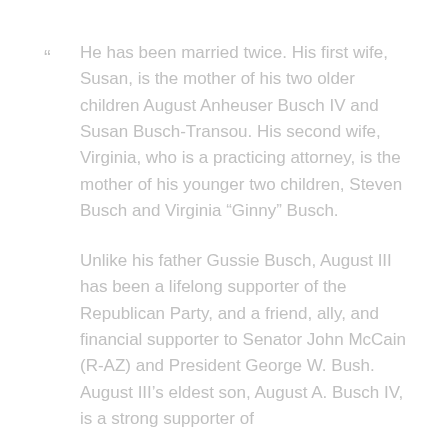“ He has been married twice. His first wife, Susan, is the mother of his two older children August Anheuser Busch IV and Susan Busch-Transou. His second wife, Virginia, who is a practicing attorney, is the mother of his younger two children, Steven Busch and Virginia “Ginny” Busch.
Unlike his father Gussie Busch, August III has been a lifelong supporter of the Republican Party, and a friend, ally, and financial supporter to Senator John McCain (R-AZ) and President George W. Bush. August III’s eldest son, August A. Busch IV, is a strong supporter of